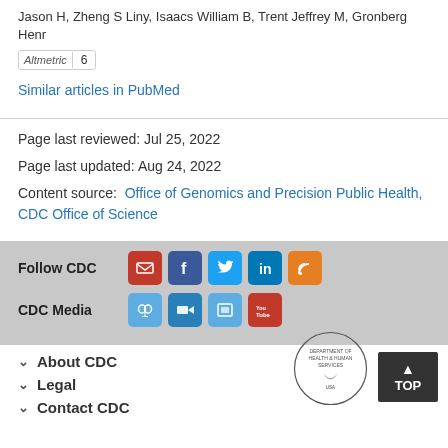Jason H, Zheng S Liny, Isaacs William B, Trent Jeffrey M, Gronberg Henr
[Figure (other): Altmetric badge showing score 6]
Similar articles in PubMed
Page last reviewed: Jul 25, 2022
Page last updated: Aug 24, 2022
Content source:  Office of Genomics and Precision Public Health, CDC Office of Science
[Figure (infographic): Follow CDC social media icons: email, Facebook, Twitter, LinkedIn, RSS feed]
[Figure (infographic): CDC Media icons: podcast/headphones, video camera, photo gallery, YouTube]
About CDC
Legal
Contact CDC
[Figure (logo): HHS Department of Health and Human Services seal/logo]
[Figure (other): TOP button - scroll to top of page]